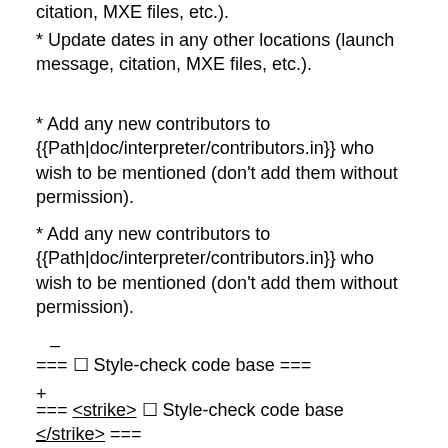citation, MXE files, etc.).
* Update dates in any other locations (launch message, citation, MXE files, etc.).
* Add any new contributors to {{Path|doc/interpreter/contributors.in}} who wish to be mentioned (don't add them without permission).
* Add any new contributors to {{Path|doc/interpreter/contributors.in}} who wish to be mentioned (don't add them without permission).
–
=== ☐ Style-check code base ===
+
=== <strike> ☐ Style-check code base </strike> ===
–
:Completion Date:
+
:Completion Date: 11/29/21